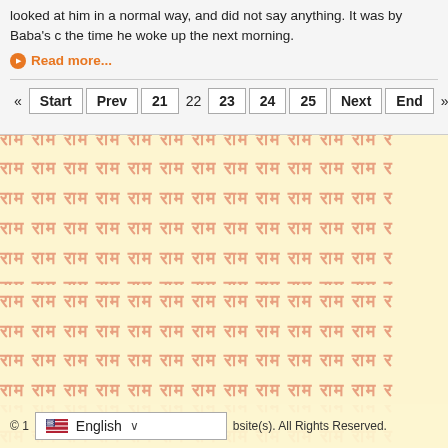looked at him in a normal way, and did not say anything. It was by Baba's c... the time he woke up the next morning.
Read more...
« Start Prev 21 22 23 24 25 Next End »
[Figure (other): Repeating Hindi text 'राम' (Ram) on a pale yellow background forming a watermark-style pattern]
© ... bsite(s). All Rights Reserved. English